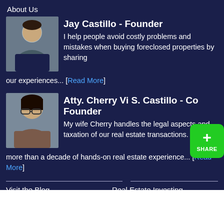About Us
Jay Castillo - Founder
I help people avoid costly problems and mistakes when buying foreclosed properties by sharing our experiences... [Read More]
Atty. Cherry Vi S. Castillo - Co Founder
My wife Cherry handles the legal aspects and taxation of our real estate transactions. She has more than a decade of hands-on real estate experience... [Read More]
Visit the Blog
Foreclosed Properties
Real Estate Training
Contact Us
Advertise
Real Estate Investing
Tools and Calculators
Subscribe
Topics: